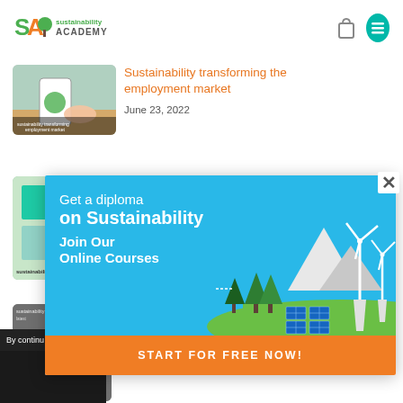[Figure (logo): Sustainability Academy logo with green tree icon and 'SA' text]
[Figure (photo): Article thumbnail: hands holding a phone with sustainability app, text 'sustainability transforming employment market']
Sustainability transforming the employment market
June 23, 2022
[Figure (photo): Article thumbnail: green sticky notes and laptop on wooden desk]
[Figure (photo): Article thumbnail: blurred sustainability image with house/mountain shape]
By continu
[Figure (infographic): Advertisement banner: 'Get a diploma on Sustainability Join Our Online Courses' with wind turbines, solar panels, trees and mountains illustration on blue background]
START FOR FREE NOW!